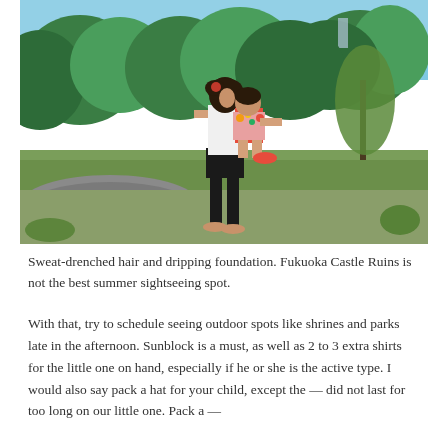[Figure (photo): A woman holding a young child outdoors at Fukuoka Castle Ruins. The woman wears a white top and black shorts; the child is wearing a colorful floral outfit and pink/red shoes. Lush green trees and a grassy area are visible in the background under a blue sky.]
Sweat-drenched hair and dripping foundation. Fukuoka Castle Ruins is not the best summer sightseeing spot.
With that, try to schedule seeing outdoor spots like shrines and parks late in the afternoon. Sunblock is a must, as well as 2 to 3 extra shirts for the little one on hand, especially if he or she is the active type. I would also say pack a hat for your child, except the — did not last for too long on our little one. Pack a —